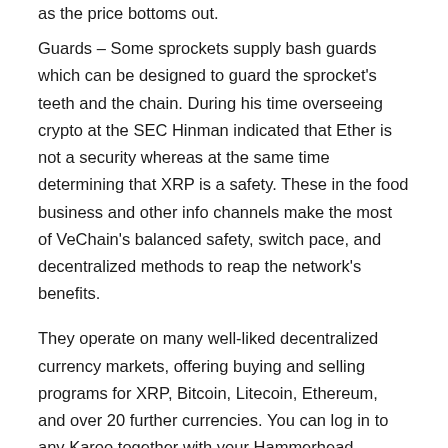as the price bottoms out.
Guards – Some sprockets supply bash guards which can be designed to guard the sprocket's teeth and the chain. During his time overseeing crypto at the SEC Hinman indicated that Ether is not a security whereas at the same time determining that XRP is a safety. These in the food business and other info channels make the most of VeChain's balanced safety, switch pace, and decentralized methods to reap the network's benefits.
They operate on many well-liked decentralized currency markets, offering buying and selling programs for XRP, Bitcoin, Litecoin, Ethereum, and over 20 further currencies. You can log in to any Karoo together with your Hammerhead account and automatically sync your pre-paired sensors, routes, web page units, Strava account, and more. While most cats adapt pretty well and can be